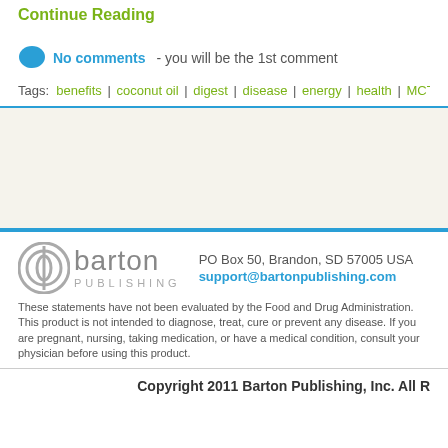Continue Reading
No comments - you will be the 1st comment
Tags: benefits | coconut oil | digest | disease | energy | health | MCTs
PO Box 50, Brandon, SD 57005 USA
support@bartonpublishing.com
These statements have not been evaluated by the Food and Drug Administration. This product is not intended to diagnose, treat, cure or prevent any disease. If you are pregnant, nursing, taking medication, or have a medical condition, consult your physician before using this product.
Copyright 2011 Barton Publishing, Inc. All Rights Reserved.